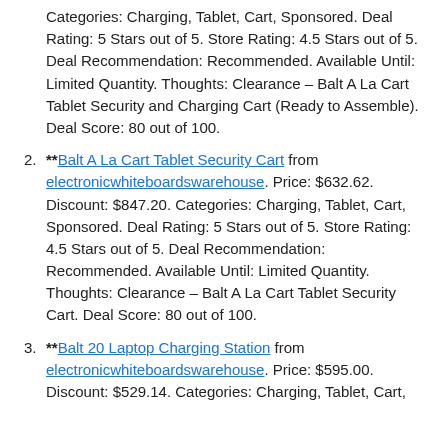Categories: Charging, Tablet, Cart, Sponsored. Deal Rating: 5 Stars out of 5. Store Rating: 4.5 Stars out of 5. Deal Recommendation: Recommended. Available Until: Limited Quantity. Thoughts: Clearance – Balt A La Cart Tablet Security and Charging Cart (Ready to Assemble). Deal Score: 80 out of 100.
**Balt A La Cart Tablet Security Cart from electronicwhiteboardswarehouse. Price: $632.62. Discount: $847.20. Categories: Charging, Tablet, Cart, Sponsored. Deal Rating: 5 Stars out of 5. Store Rating: 4.5 Stars out of 5. Deal Recommendation: Recommended. Available Until: Limited Quantity. Thoughts: Clearance – Balt A La Cart Tablet Security Cart. Deal Score: 80 out of 100.
**Balt 20 Laptop Charging Station from electronicwhiteboardswarehouse. Price: $595.00. Discount: $529.14. Categories: Charging, Tablet, Cart,